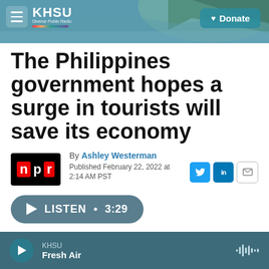[Figure (photo): KHSU radio station header banner with coastal beach/forested hill landscape photo in background, hamburger menu button and KHSU logo on left, Donate button on right]
The Philippines government hopes a surge in tourists will save its economy
By Ashley Westerman
Published February 22, 2022 at 2:14 AM PST
[Figure (logo): NPR logo (n p r letters in red and white on black background)]
[Figure (other): Listen button: play triangle, LISTEN • 3:29]
KHSU Fresh Air